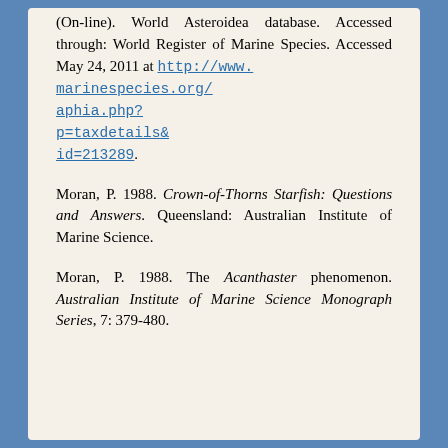…Asteroidea database. Accessed through: World Register of Marine Species. Accessed May 24, 2011 at http://www.marinespecies.org/aphia.php?p=taxdetails&id=213289.
Moran, P. 1988. Crown-of-Thorns Starfish: Questions and Answers. Queensland: Australian Institute of Marine Science.
Moran, P. 1988. The Acanthaster phenomenon. Australian Institute of Marine Science Monograph Series, 7: 379-480.